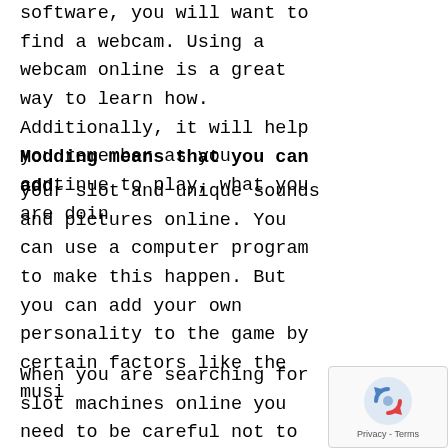software, you will want to find a webcam. Using a webcam online is a great way to learn how. Additionally, it will help you remember as you continue to play, what you are doin
Modding means that you can add your slot and unique sounds and pictures online. You can use a computer program to make this happen. But you can add your own personality to the game by certain factors like the musi
When you are searching for slot machines online you need to be careful not to take the first thing you see, there are a whole lot of scam
[Figure (logo): reCAPTCHA badge with spinning arrows icon and Privacy - Terms text]